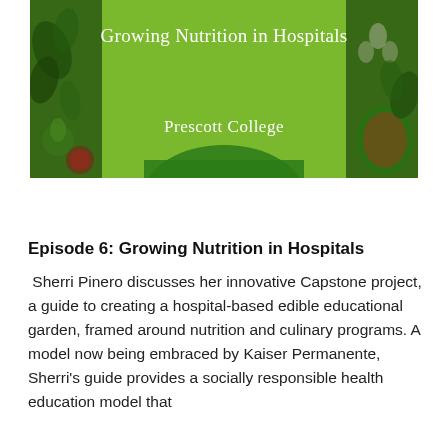[Figure (illustration): Cover image for a podcast or publication titled 'Growing Nutrition in Hospitals' by Prescott College. Green background with decorative vegetable illustrations on left and right sides. White centered text for the title and college name. A darker green arch shape at the bottom center.]
Episode 6: Growing Nutrition in Hospitals
Sherri Pinero discusses her innovative Capstone project, a guide to creating a hospital-based edible educational garden, framed around nutrition and culinary programs. A model now being embraced by Kaiser Permanente, Sherri's guide provides a socially responsible health education model that